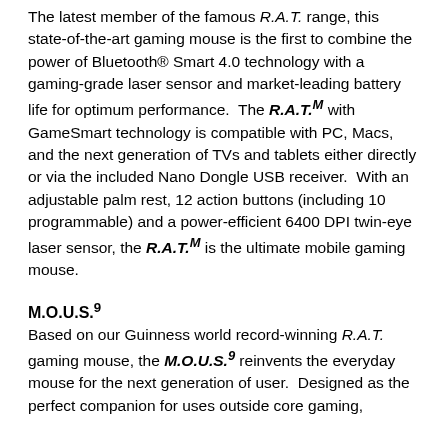The latest member of the famous R.A.T. range, this state-of-the-art gaming mouse is the first to combine the power of Bluetooth® Smart 4.0 technology with a gaming-grade laser sensor and market-leading battery life for optimum performance. The R.A.T.M with GameSmart technology is compatible with PC, Macs, and the next generation of TVs and tablets either directly or via the included Nano Dongle USB receiver. With an adjustable palm rest, 12 action buttons (including 10 programmable) and a power-efficient 6400 DPI twin-eye laser sensor, the R.A.T.M is the ultimate mobile gaming mouse.
M.O.U.S.9
Based on our Guinness world record-winning R.A.T. gaming mouse, the M.O.U.S.9 reinvents the everyday mouse for the next generation of user. Designed as the perfect companion for uses outside core gaming,